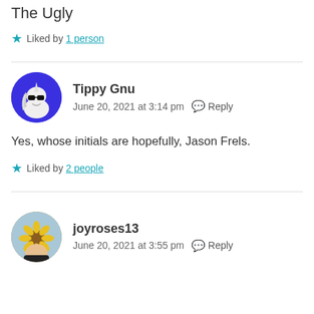The Ugly
Liked by 1 person
Tippy Gnu
June 20, 2021 at 3:14 pm   Reply
Yes, whose initials are hopefully, Jason Frels.
Liked by 2 people
joyroses13
June 20, 2021 at 3:55 pm   Reply